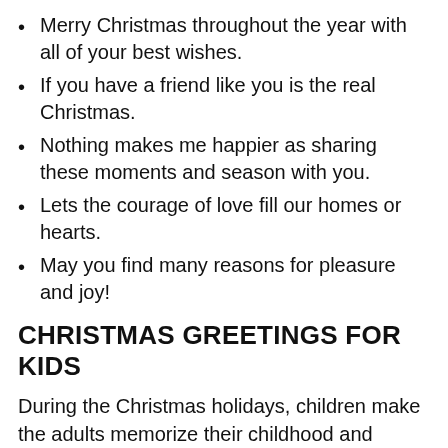Merry Christmas throughout the year with all of your best wishes.
If you have a friend like you is the real Christmas.
Nothing makes me happier as sharing these moments and season with you.
Lets the courage of love fill our homes or hearts.
May you find many reasons for pleasure and joy!
CHRISTMAS GREETINGS FOR KIDS
During the Christmas holidays, children make the adults memorize their childhood and smile. Children are the real victims who enjoy the laughter and bring the joy of Christmas to any home. Their sweet voices of Christmas songs and